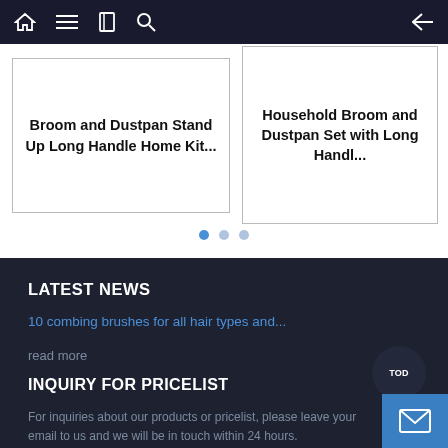Navigation bar with home, menu, book, search icons and back arrow
Broom and Dustpan Stand Up Long Handle Home Kit...
Household Broom and Dustpan Set with Long Handl...
LATEST NEWS
10 combing brushes for all hair types and...
read more
INQUIRY FOR PRICELIST
For inquiries about our products or pricelist, please leave your email to us and we will be in touch within 24 hours.